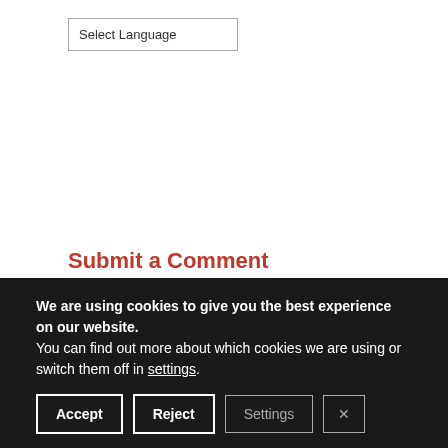Select Language
← Top 10 Columns for 2015
The Future of Ignorance →
Submit a Comment
We are using cookies to give you the best experience on our website.
You can find out more about which cookies we are using or switch them off in settings.
Accept  Reject  Settings  ×